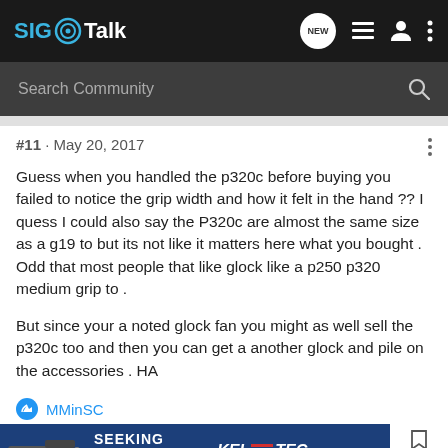SIG Talk
#11 · May 20, 2017
Guess when you handled the p320c before buying you failed to notice the grip width and how it felt in the hand ?? I quess I could also say the P320c are almost the same size as a g19 to but its not like it matters here what you bought . Odd that most people that like glock like a p250 p320 medium grip to .

But since your a noted glock fan you might as well sell the p320c too and then you can get a another glock and pile on the accessories . HA
MMinSC
[Figure (screenshot): Advertisement banner for Kel-Tec CP33 pistol with text SEEKING LONG RANGE RELATIONSHIP]